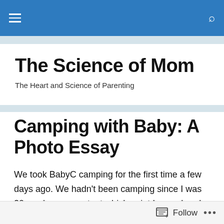The Science of Mom – site navigation bar with hamburger menu and search icon
The Science of Mom
The Heart and Science of Parenting
Camping with Baby: A Photo Essay
We took BabyC camping for the first time a few days ago. We hadn't been camping since I was 20 weeks pregnant, at which point I was already too uncomfortable to be sleeping on the hard ground.  Before my pregnancy though, Husband and I did a lot of outdoor exploration together –
Follow ...